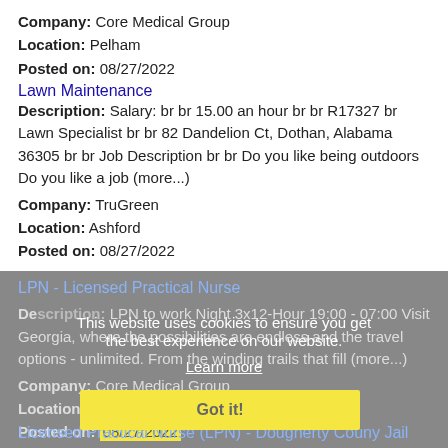Company: Core Medical Group
Location: Pelham
Posted on: 08/27/2022
Lawn Maintenance
Description: Salary: br br 15.00 an hour br br R17327 br Lawn Specialist br br 82 Dandelion Ct, Dothan, Alabama 36305 br br Job Description br br Do you like being outdoors Do you like a job (more...)
Company: TruGreen
Location: Ashford
Posted on: 08/27/2022
LPN - Licensed Practical Nurse
Description: ...LPN to work Night 3x12-Hour 19:00 - 07:00 Visit Georgia, where the possibilities are endless and the travel options - unlimited. From the winding trails that fill (more...)
Company: Core Medical Group
Location: Colquitt
Posted on: 08/27/2022
This website uses cookies to ensure you get the best experience on our website.
Learn more
Got it!
Licensed Practical Nurse (LPN) - Dougherty Couny Jail (FT-Days)